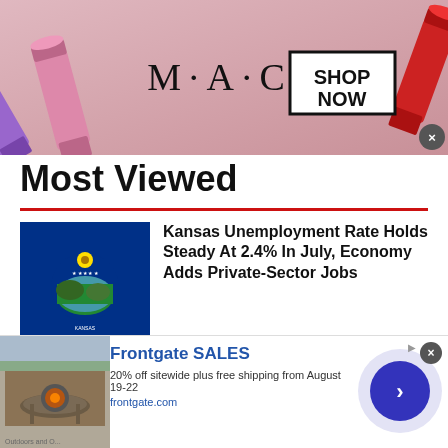[Figure (photo): MAC Cosmetics advertisement banner with lipsticks, MAC logo and SHOP NOW box]
Most Viewed
[Figure (photo): Kansas state flag on blue background with state seal]
Kansas Unemployment Rate Holds Steady At 2.4% In July, Economy Adds Private-Sector Jobs
[Figure (photo): Students with backpacks walking outside a campus building]
What Monkeypox Outbreak? Little Planning By Colleges As Students Resume Classes
[Figure (photo): Frontgate SALES advertisement banner with outdoor furniture]
Frontgate SALES
20% off sitewide plus free shipping from August 19-22
frontgate.com